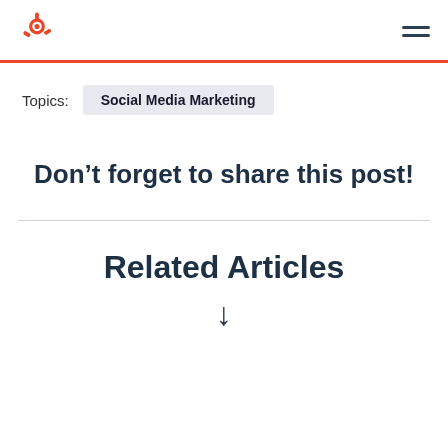[Figure (logo): HubSpot sprocket logo in orange, with hamburger menu icon on the right]
Topics:  Social Media Marketing
Don't forget to share this post!
Related Articles